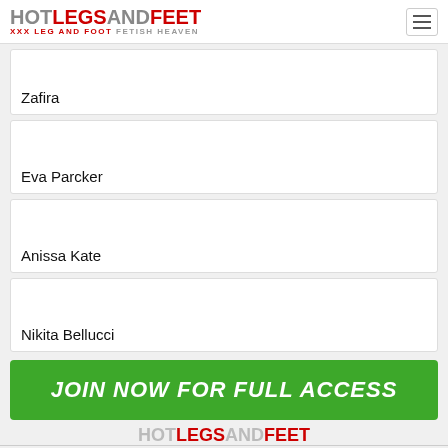HOTLEGSANDFEET XXX LEG AND FOOT FETISH HEAVEN
Zafira
Eva Parcker
Anissa Kate
Nikita Bellucci
JOIN NOW FOR FULL ACCESS
HOTLEGSANDFEET XXX LEG AND FOOT FETISH HEAVEN | Terms of Service | 2257 | Webmasters